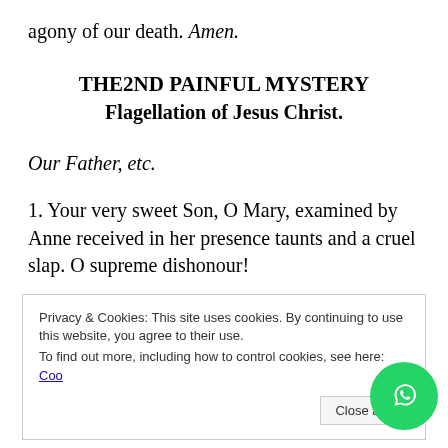agony of our death. Amen.
THE2ND PAINFUL MYSTERY
Flagellation of Jesus Christ.
Our Father, etc.
1. Your very sweet Son, O Mary, examined by Anne received in her presence taunts and a cruel slap. O supreme dishonour!
Privacy & Cookies: This site uses cookies. By continuing to use this website, you agree to their use.
To find out more, including how to control cookies, see here: Coo[kie Policy]
Close and [accept]